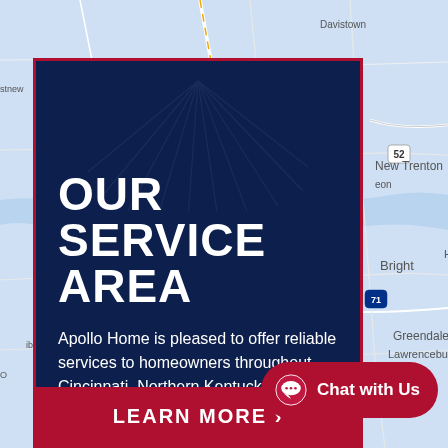[Figure (map): Google Maps style road map showing the Cincinnati and Northern Kentucky area, with locations including Mound Haven, New Trenton, Bright, Greendale, Lawrenceburg, Aurora, and surrounding roads/highways visible. Light blue background with road network overlaid.]
OUR SERVICE AREA
Apollo Home is pleased to offer reliable services to homeowners throughout Cincinnati, Northern Kentucky, and the surrounding areas.
LEARN MORE →
Chat with Us